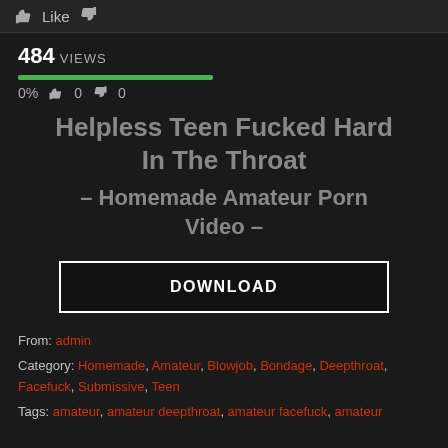Like
484 VIEWS
0%  0  0
Helpless Teen Fucked Hard In The Throat
– Homemade Amateur Porn Video –
DOWNLOAD
From: admin
Category: Homemade, Amateur, Blowjob, Bondage, Deepthroat, Facefuck, Submissive, Teen
Tags: amateur, amateur deepthroat, amateur facefuck, amateur